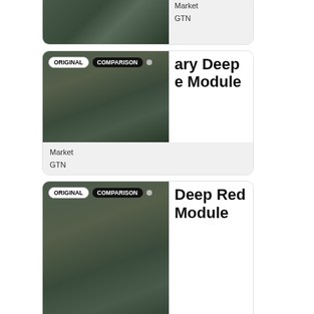[Figure (screenshot): Partial card at top showing 'Market' and 'GTN' text with armored character image]
[Figure (screenshot): Card with ORIGINAL/COMPARISON badges, title 'ary Deep e Module', info showing Market and GTN]
[Figure (screenshot): Card with ORIGINAL/COMPARISON badges, title 'Deep Red Module', info showing tation, n Oricon, 50/GTN, Schematic: 100,000 Credits]
[Figure (screenshot): Partial card at bottom with ORIGINAL/COMPARISON badges and armored character image]